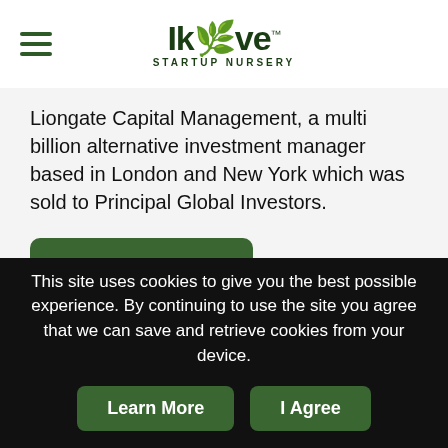Ikove Startup Nursery
Liongate Capital Management, a multi billion alternative investment manager based in London and New York which was sold to Principal Global Investors.
Learn More
This site uses cookies to give you the best possible experience. By continuing to use the site you agree that we can save and retrieve cookies from your device.
Learn More | I Agree